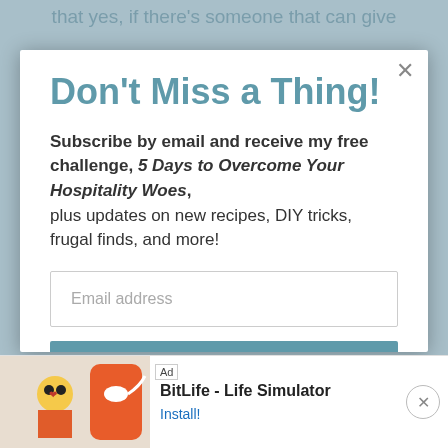that yes, if there's someone that can give
Don't Miss a Thing!
Subscribe by email and receive my free challenge, 5 Days to Overcome Your Hospitality Woes, plus updates on new recipes, DIY tricks, frugal finds, and more!
[Figure (screenshot): Email address input field]
[Figure (screenshot): SUBSCRIBE button]
[Figure (screenshot): Ad banner: BitLife - Life Simulator with Install button]